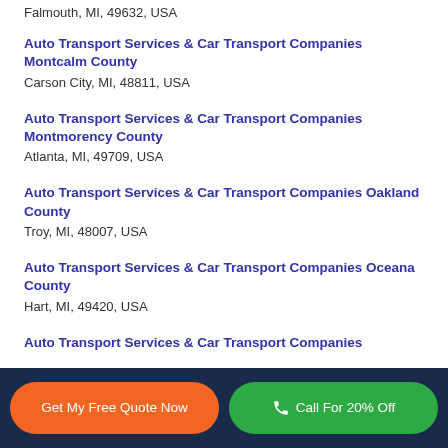Falmouth, MI, 49632, USA
Auto Transport Services & Car Transport Companies Montcalm County
Carson City, MI, 48811, USA
Auto Transport Services & Car Transport Companies Montmorency County
Atlanta, MI, 49709, USA
Auto Transport Services & Car Transport Companies Oakland County
Troy, MI, 48007, USA
Auto Transport Services & Car Transport Companies Oceana County
Hart, MI, 49420, USA
Auto Transport Services & Car Transport Companies
Get My Free Quote Now   Call For 20% Off